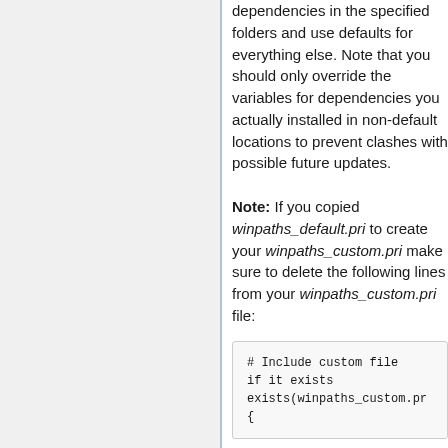dependencies in the specified folders and use defaults for everything else. Note that you should only override the variables for dependencies you actually installed in non-default locations to prevent clashes with possible future updates.
Note: If you copied winpaths_default.pri to create your winpaths_custom.pri make sure to delete the following lines from your winpaths_custom.pri file:
# Include custom file
if it exists
exists(winpaths_custom.pr
{